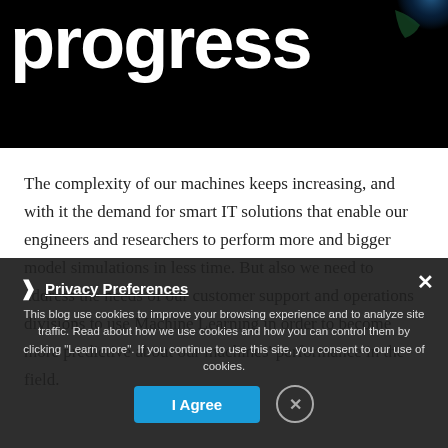[Figure (photo): Hero image with bold white 'progress' text on black background, with a partial view of Earth globe on the right side]
The complexity of our machines keeps increasing, and with it the demand for smart IT solutions that enable our engineers and researchers to perform more and bigger model simulations in less time. But also we need to address the needs of our customer support and operations divisions to use Machine Learning in order to become more predictive about our machines' performance in the field.
This blog use cookies to improve your browsing experience and to analyze site traffic. Read about how we use cookies and how you can control them by clicking "Learn more". If you continue to use this site, you consent to our use of cookies. Learn more   Got it